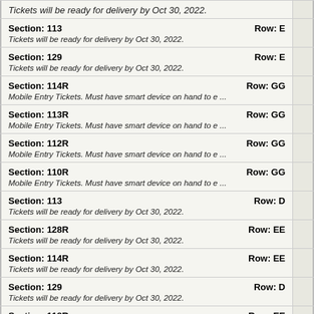Tickets will be ready for delivery by Oct 30, 2022.
Section: 113  Row: E — Tickets will be ready for delivery by Oct 30, 2022.
Section: 129  Row: E — Tickets will be ready for delivery by Oct 30, 2022.
Section: 114R  Row: GG — Mobile Entry Tickets. Must have smart device on hand to e ...
Section: 113R  Row: GG — Mobile Entry Tickets. Must have smart device on hand to e ...
Section: 112R  Row: GG — Mobile Entry Tickets. Must have smart device on hand to e ...
Section: 110R  Row: GG — Mobile Entry Tickets. Must have smart device on hand to e ...
Section: 113  Row: D — Tickets will be ready for delivery by Oct 30, 2022.
Section: 128R  Row: EE — Tickets will be ready for delivery by Oct 30, 2022.
Section: 114R  Row: EE — Tickets will be ready for delivery by Oct 30, 2022.
Section: 129  Row: D — Tickets will be ready for delivery by Oct 30, 2022.
Section: 118R  Row: EE